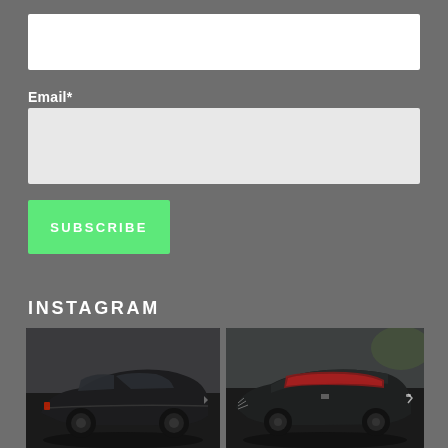[Figure (screenshot): White input field (text box) at the top of the page, likely a name or search field]
Email*
[Figure (screenshot): Light grey input field for email address]
[Figure (screenshot): Green SUBSCRIBE button]
INSTAGRAM
[Figure (photo): Two car photos side by side: left shows a dark grey/black Dodge Charger muscle car concept; right shows a dark Cadillac luxury concept car with red interior visible through window]